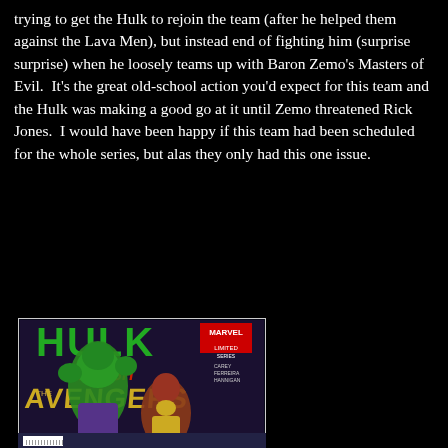trying to get the Hulk to rejoin the team (after he helped them against the Lava Men), but instead end of fighting him (surprise surprise) when he loosely teams up with Baron Zemo's Masters of Evil.  It's the great old-school action you'd expect for this team and the Hulk was making a good go at it until Zemo threatened Rick Jones.  I would have been happy if this team had been scheduled for the whole series, but alas they only had this one issue.
[Figure (photo): Comic book cover of 'Hulk Smash Avengers' Marvel Limited series, showing the Hulk and Iron Man on a dark background, with green HULK logo at top and gold/yellow AVENGERS text with SMASH in red.]